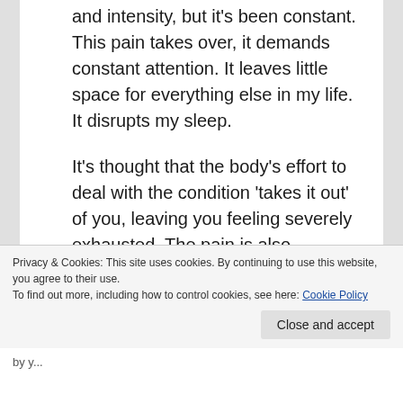and intensity, but it's been constant. This pain takes over, it demands constant attention. It leaves little space for everything else in my life. It disrupts my sleep.
It's thought that the body's effort to deal with the condition 'takes it out' of you, leaving you feeling severely exhausted. The pain is also attributable to a less-than-perfect hormonal balance. Who really knows. At the moment, it seems that there are as many theories and speculations as there are answers.
2  DUAL NATURE OF EXHAUSTION: Endo-fatigue
Privacy & Cookies: This site uses cookies. By continuing to use this website, you agree to their use.
To find out more, including how to control cookies, see here: Cookie Policy
Close and accept